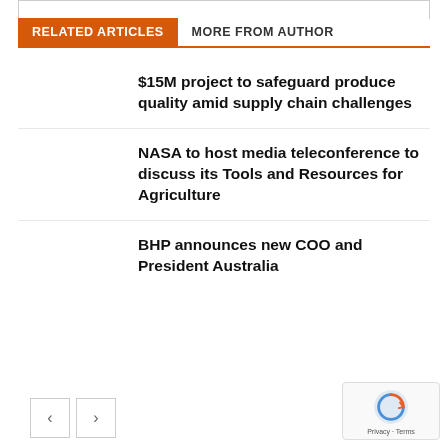RELATED ARTICLES
MORE FROM AUTHOR
$15M project to safeguard produce quality amid supply chain challenges
NASA to host media teleconference to discuss its Tools and Resources for Agriculture
BHP announces new COO and President Australia